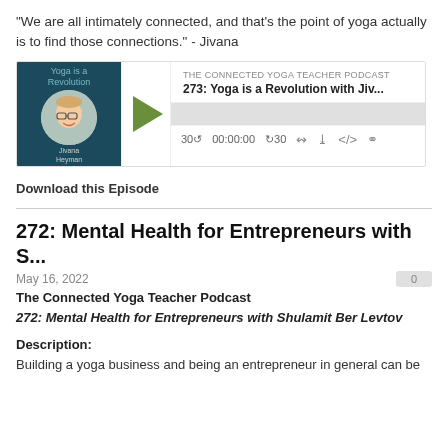"We are all intimately connected, and that's the point of yoga actually is to find those connections." - Jivana
[Figure (screenshot): Podcast player widget for 'The Connected Yoga Teacher Podcast', episode 273: Yoga is a Revolution with Jiv... Shows thumbnail image with the episode artwork, a play button, progress bar, and playback controls including 30-second skip buttons, timer showing 00:00:00, and icons for RSS, download, embed, and share.]
Download this Episode
272: Mental Health for Entrepreneurs with S...
May 16, 2022
The Connected Yoga Teacher Podcast
272: Mental Health for Entrepreneurs with Shulamit Ber Levtov
Description:
Building a yoga business and being an entrepreneur in general can be